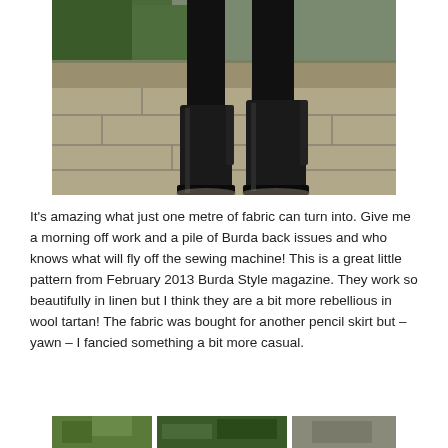[Figure (photo): A person's legs wearing black knee-high lace-up boots and black tights, standing on a stone pavement sidewalk with greenery/hedge in the background.]
It's amazing what just one metre of fabric can turn into. Give me a morning off work and a pile of Burda back issues and who knows what will fly off the sewing machine! This is a great little pattern from February 2013 Burda Style magazine. They work so beautifully in linen but I think they are a bit more rebellious in wool tartan! The fabric was bought for another pencil skirt but – yawn – I fancied something a bit more casual.
[Figure (photo): Partial view of images at the bottom of the page, mostly cropped.]